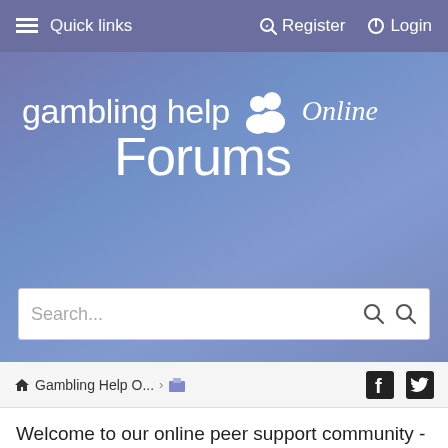≡ Quick links   Register   Login
[Figure (logo): Gambling Help Online Forums logo with people icon, white text on blue-purple gradient background]
Search...
Gambling Help O... > [icon]
Welcome to our online peer support community - A supportive place for anyone making change in their gambling,